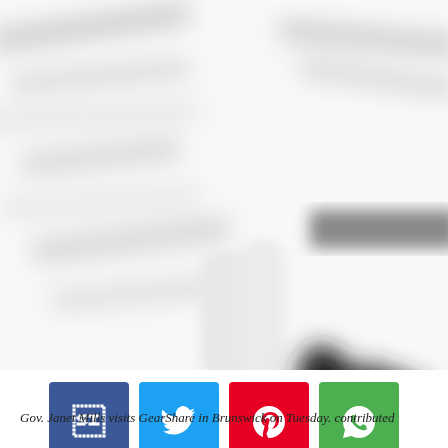[Figure (photo): Blurred/motion photo of Gov. Janet Mills visiting GearShare in Brunswick. The image shows blurred figures in black and white/grayscale with motion blur effects. A dark rectangular bar is visible in the upper right area.]
[Figure (infographic): Social sharing buttons row: Facebook (blue), Twitter (light blue), Pinterest (red), WhatsApp (green)]
Gov. Janet Mills visits GearShare in Brunswick on Tuesday. contributed